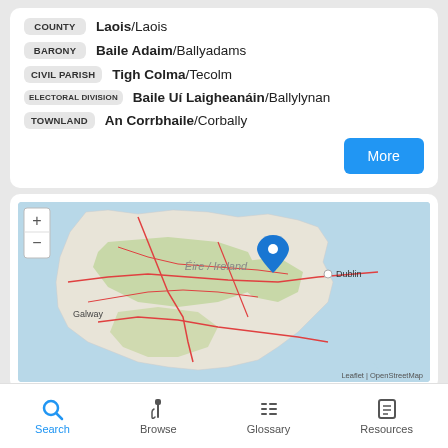COUNTY  Laois/Laois
BARONY  Baile Adaim/Ballyadams
CIVIL PARISH  Tigh Colma/Tecolm
ELECTORAL DIVISION  Baile Uí Laigheanáin/Ballylynan
TOWNLAND  An Corrbhaile/Corbally
[Figure (map): Map of Ireland showing location in County Laois with a blue pin marker. Shows Éire / Ireland label, Galway to the west, Dublin to the east. Map tiles from OpenStreetMap. Zoom controls (+ and -) visible in top-left.]
Search  Browse  Glossary  Resources